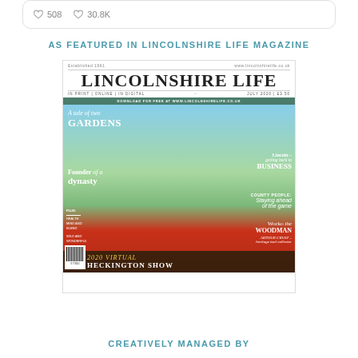[Figure (screenshot): Social media card with heart icons showing 508 and 30.8K counts]
AS FEATURED IN LINCOLNSHIRE LIFE MAGAZINE
[Figure (photo): Cover of Lincolnshire Life Magazine July 2020 featuring poppy fields, headline 'A tale of two GARDENS', 'Founder of a dynasty', 'Lincoln - getting back to BUSINESS', 'COUNTY PEOPLE: Staying ahead of the game', 'Wocko the WOODMAN', 'ARTHUR CRUST - heritage tool collector', '2020 VIRTUAL HECKINGTON SHOW']
CREATIVELY MANAGED BY